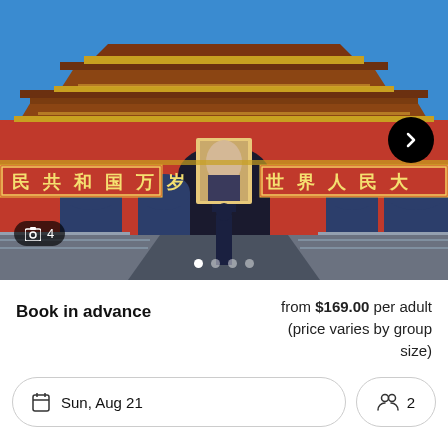[Figure (photo): Tiananmen Gate (Gate of Heavenly Peace) in Beijing, China illuminated at dusk/night. The iconic red gate features Chinese characters on banners, Mao Zedong's portrait in the center, and a guard standing at attention in the foreground. A blue sky is visible in the background.]
Book in advance
from $169.00 per adult (price varies by group size)
Sun, Aug 21
2